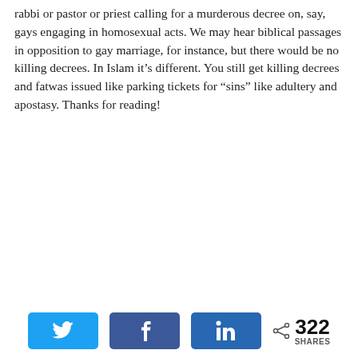rabbi or pastor or priest calling for a murderous decree on, say, gays engaging in homosexual acts. We may hear biblical passages in opposition to gay marriage, for instance, but there would be no killing decrees. In Islam it's different. You still get killing decrees and fatwas issued like parking tickets for “sins” like adultery and apostasy. Thanks for reading!
Reply
Privacy & Cookies: This site uses cookies. By continuing to use this website, you agree to their use.
To find out more, including how to control cookies, see here: Cookie Policy
322 SHARES